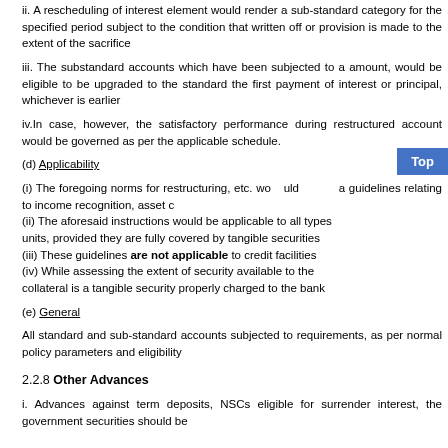ii. A rescheduling of interest element would render a sub-standard category for the specified period subject to the condition that written off or provision is made to the extent of the sacrifice
iii. The substandard accounts which have been subjected to a amount, would be eligible to be upgraded to the standard the first payment of interest or principal, whichever is earlier
iv.In case, however, the satisfactory performance during restructured account would be governed as per the applicable schedule.
(d) Applicability
(i) The foregoing norms for restructuring, etc. would apply guidelines relating to income recognition, asset classification (ii) The aforesaid instructions would be applicable to all types units, provided they are fully covered by tangible securities (iii) These guidelines are not applicable to credit facilities (iv) While assessing the extent of security available to the collateral is a tangible security properly charged to the bank
(e) General
All standard and sub-standard accounts subjected to requirements, as per normal policy parameters and eligibility
2.2.8 Other Advances
i. Advances against term deposits, NSCs eligible for surrender interest, the government securities should be